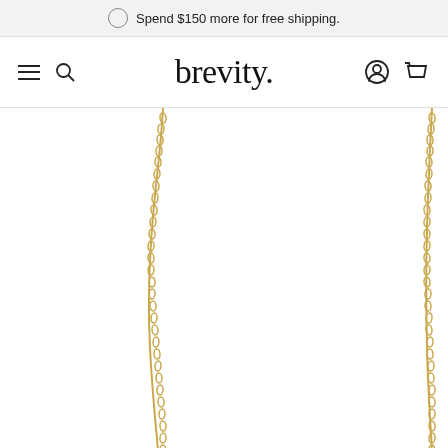Spend $150 more for free shipping.
brevity.
[Figure (photo): Two gold necklace chains hanging vertically against a white background, showing the delicate cable chain detail of jewelry products sold on the brevity. e-commerce website.]